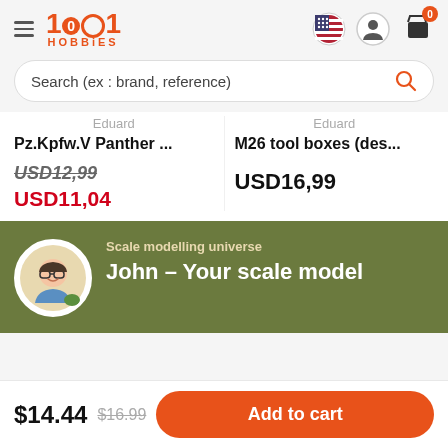1001 HOBBIES
Search (ex : brand, reference)
Eduard
Pz.Kpfw.V Panther ...
USD12,99
USD11,04
Eduard
M26 tool boxes (des...
USD16,99
Scale modelling universe
John – Your scale model
$14.44  $16.99  Add to cart